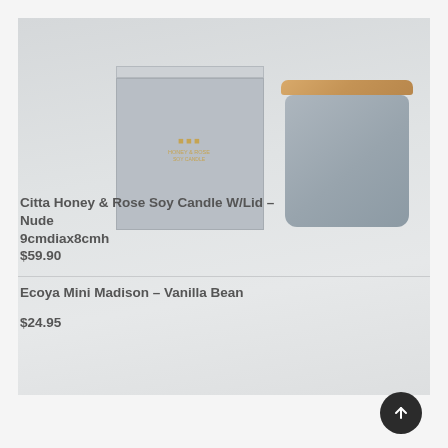[Figure (photo): Product photo showing a grey square box with gold label text on left, and a grey cylindrical candle jar with wooden bamboo lid on right, on a light grey background.]
Citta Honey & Rose Soy Candle W/Lid – Nude 9cmdiax8cmh
$59.90
Ecoya Mini Madison – Vanilla Bean
$24.95